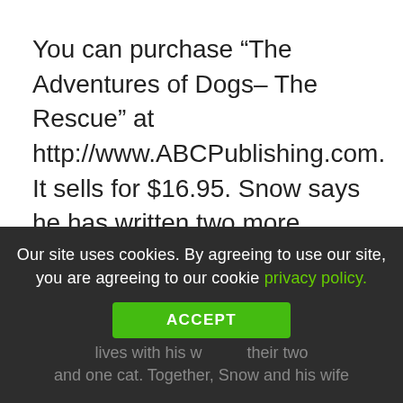You can purchase “The Adventures of Dogs– The Rescue” at http://www.ABCPublishing.com. It sells for $16.95. Snow says he has written two more children’s books with the same two characters. They will be released at a later date.
###
Our site uses cookies. By agreeing to use our site, you are agreeing to our cookie privacy policy.
ACCEPT
lives with his w their two and one cat. Together, Snow and his wife